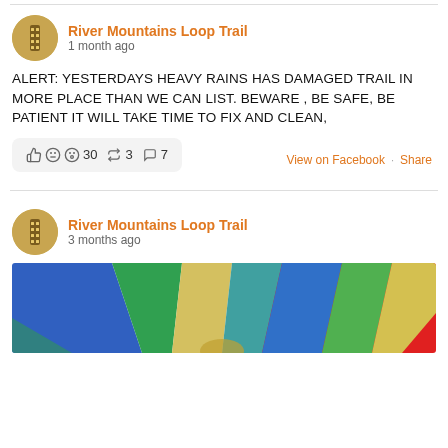River Mountains Loop Trail
1 month ago
ALERT: YESTERDAYS HEAVY RAINS HAS DAMAGED TRAIL IN MORE PLACE THAN WE CAN LIST. BEWARE , BE SAFE, BE PATIENT IT WILL TAKE TIME TO FIX AND CLEAN,
30  3  7  View on Facebook · Share
River Mountains Loop Trail
3 months ago
[Figure (photo): Colorful hot air balloon fabric, showing blue, green, yellow, teal, and red panels radiating outward.]